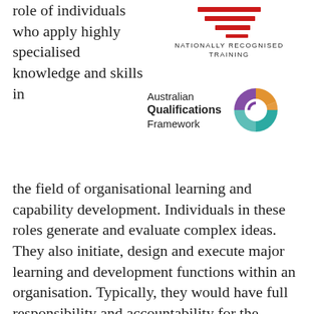role of individuals who apply highly specialised knowledge and skills in
[Figure (logo): Nationally Recognised Training logo with red horizontal lines of decreasing length, and text 'Nationally Recognised Training' in small caps]
[Figure (logo): Australian Qualifications Framework logo with colorful circular arrow segments (purple, orange, teal) and text 'Australian Qualifications Framework']
the field of organisational learning and capability development. Individuals in these roles generate and evaluate complex ideas. They also initiate, design and execute major learning and development functions within an organisation. Typically, they would have full responsibility and accountability for the personal output and work of others.
This qualification may apply to leaders